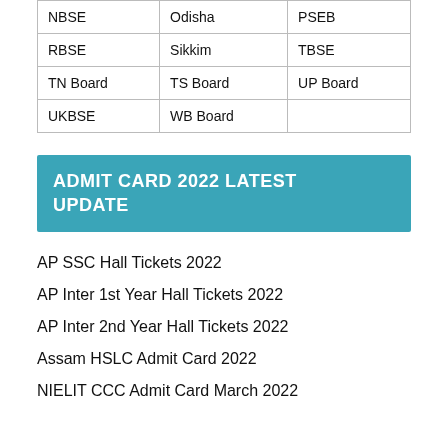| NBSE | Odisha | PSEB |
| RBSE | Sikkim | TBSE |
| TN Board | TS Board | UP Board |
| UKBSE | WB Board |  |
ADMIT CARD 2022 LATEST UPDATE
AP SSC Hall Tickets 2022
AP Inter 1st Year Hall Tickets 2022
AP Inter 2nd Year Hall Tickets 2022
Assam HSLC Admit Card 2022
NIELIT CCC Admit Card March 2022